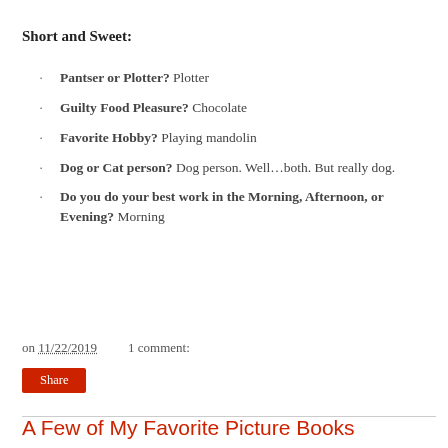Short and Sweet:
Pantser or Plotter? Plotter
Guilty Food Pleasure? Chocolate
Favorite Hobby? Playing mandolin
Dog or Cat person? Dog person. Well…both. But really dog.
Do you do your best work in the Morning, Afternoon, or Evening? Morning
on 11/22/2019    1 comment:
Share
A Few of My Favorite Picture Books